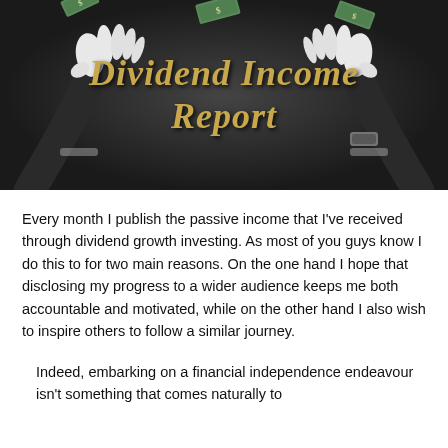[Figure (illustration): Dark banner image with two white-gloved hands raised upward, floating money bills, and gold italic text reading 'Dividend Income Report' in the center.]
Every month I publish the passive income that I've received through dividend growth investing. As most of you guys know I do this to for two main reasons. On the one hand I hope that disclosing my progress to a wider audience keeps me both accountable and motivated, while on the other hand I also wish to inspire others to follow a similar journey.
Indeed, embarking on a financial independence endeavour isn't something that comes naturally to